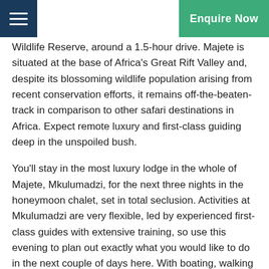Enquire Now
Wildlife Reserve, around a 1.5-hour drive. Majete is situated at the base of Africa's Great Rift Valley and, despite its blossoming wildlife population arising from recent conservation efforts, it remains off-the-beaten-track in comparison to other safari destinations in Africa. Expect remote luxury and first-class guiding deep in the unspoiled bush.
You'll stay in the most luxury lodge in the whole of Majete, Mkulumadzi, for the next three nights in the honeymoon chalet, set in total seclusion. Activities at Mkulumadzi are very flexible, led by experienced first-class guides with extensive training, so use this evening to plan out exactly what you would like to do in the next couple of days here. With boating, walking and vehicle safaris and the option to visit local villages, you certainly won't fall short on things to do here.